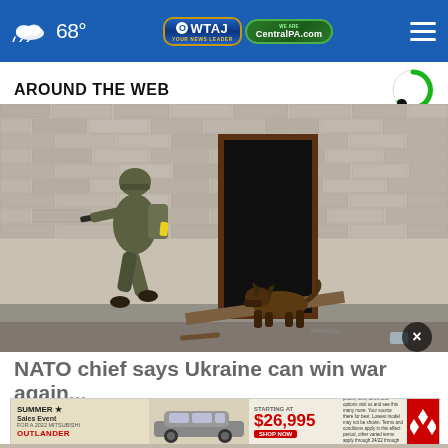68° WQTAJ CentralPA.com
AROUND THE WEB
[Figure (photo): A soldier in camouflage gear holding a rifle approaches a doorway in a damaged brick building while a German shepherd dog enters through the opening]
NATO chief says Ukraine can win war against Rus...
[Figure (infographic): Mitsubishi Summer Sales Event advertisement banner showing an SUV and starting price of $26,995 with Shop Now button]